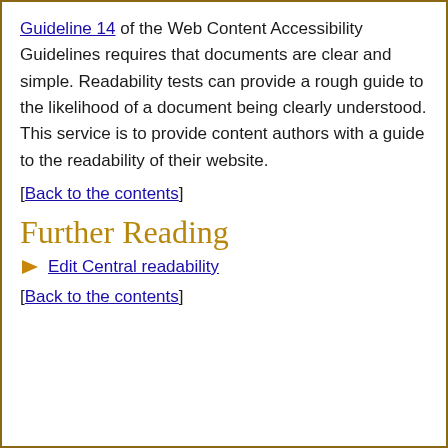Guideline 14 of the Web Content Accessibility Guidelines requires that documents are clear and simple. Readability tests can provide a rough guide to the likelihood of a document being clearly understood. This service is to provide content authors with a guide to the readability of their website.
[Back to the contents]
Further Reading
Edit Central readability
[Back to the contents]